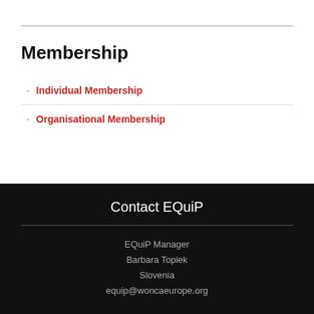Membership
Individual Membership
Organisational Membership
Contact EQuiP
EQuiP Manager
Barbara Toplek
Slovenia
equip@woncaeurope.org